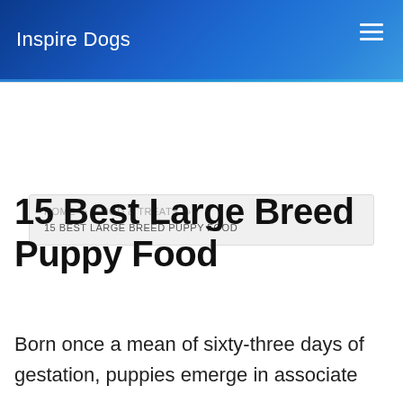Inspire Dogs
HOME » FOOD & TREATS » 15 BEST LARGE BREED PUPPY FOOD
15 Best Large Breed Puppy Food
Born once a mean of sixty-three days of gestation, puppies emerge in associate